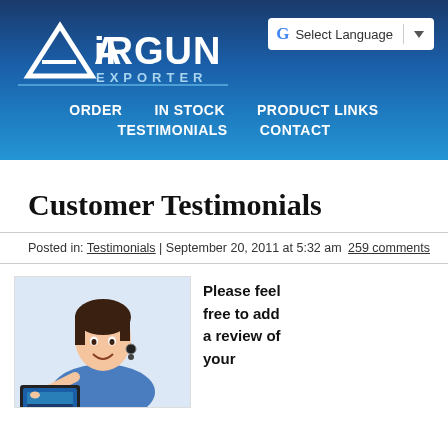AiRGUN EXPORTER | Select Language
ORDER   IN STOCK   PRODUCT LINKS   TESTIMONIALS   CONTACT
Customer Testimonials
Posted in: Testimonials | September 20, 2011 at 5:32 am   259 comments
[Figure (photo): Woman smiling, pointing at a laptop/tablet screen]
Please feel free to add a review of your